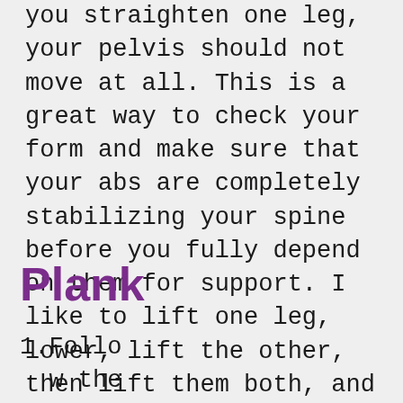you straighten one leg, your pelvis should not move at all. This is a great way to check your form and make sure that your abs are completely stabilizing your spine before you fully depend on them for support. I like to lift one leg, lower, lift the other, then lift them both, and lower them both.
Plank
Follow the directions for Plank Prep